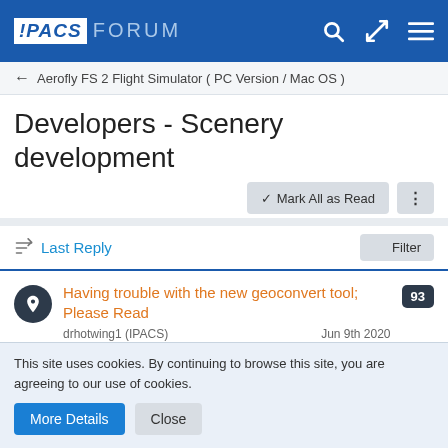IPACS FORUM
← Aerofly FS 2 Flight Simulator ( PC Version / Mac OS )
Developers - Scenery development
✓ Mark All as Read
Last Reply
Filter
Having trouble with the new geoconvert tool; Please Read — drhotwing1 (IPACS) — Jun 9th 2020 — 93 replies
Changes introduced in our upcoming update — 12 replies
This site uses cookies. By continuing to browse this site, you are agreeing to our use of cookies.
More Details  Close